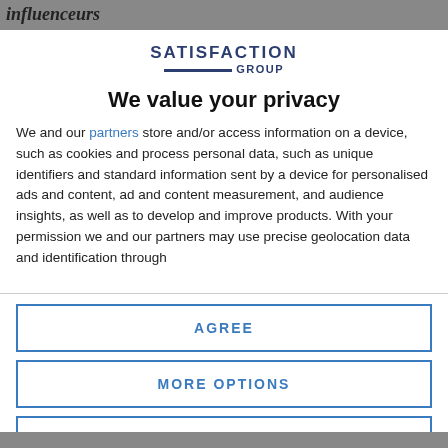[Figure (photo): Top banner with partially visible text 'influenceurs' in italic bold font on a grey/photo background]
[Figure (logo): Satisfaction Group logo with bold text SATISFACTION above a horizontal bar and GROUP label]
We value your privacy
We and our partners store and/or access information on a device, such as cookies and process personal data, such as unique identifiers and standard information sent by a device for personalised ads and content, ad and content measurement, and audience insights, as well as to develop and improve products. With your permission we and our partners may use precise geolocation data and identification through
[faded/partially visible continuation text]
AGREE
MORE OPTIONS
DISAGREE